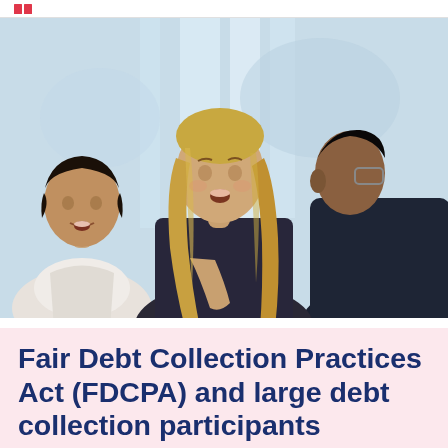[Figure (photo): Three people in an office/professional setting engaged in conversation. Left: a woman with short dark hair in a light blazer. Center: a woman with long blonde wavy hair in a dark top. Right: a man with glasses in a dark suit, seen from behind/side.]
Fair Debt Collection Practices Act (FDCPA) and large debt collection participants